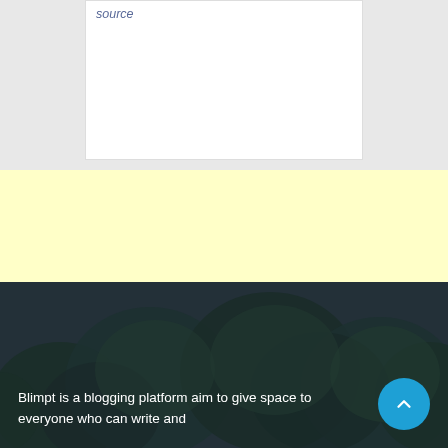source
[Figure (photo): Yellow/cream background advertisement or banner section]
[Figure (photo): Dark teal-colored section with silhouetted trees in the background and white text overlay]
Blimpt is a blogging platform aim to give space to everyone who can write and